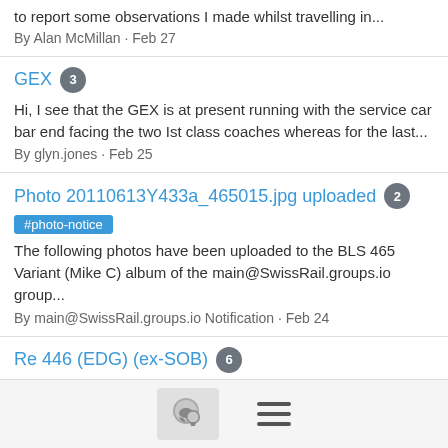to report some observations I made whilst travelling in...
By Alan McMillan · Feb 27
GEX [3]
Hi, I see that the GEX is at present running with the service car bar end facing the two Ist class coaches whereas for the last...
By glyn.jones · Feb 25
Photo 20110613Y433a_465015.jpg uploaded [2]
#photo-notice
The following photos have been uploaded to the BLS 465 Variant (Mike C) album of the main@SwissRail.groups.io group...
By main@SwissRail.groups.io Notification · Feb 24
Re 446 (EDG) (ex-SOB) [6]
I saw one report (FB) which stated that EDG Re 446 017 was out of service due to a short circuit. The report did not state...
By csipromo · Feb 18